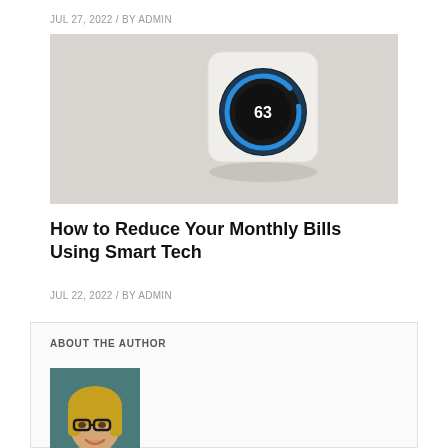JUL 27, 2022 / BY ADMIN
[Figure (photo): A smart thermostat (Nest-style) mounted on a white textured wall, showing a circular black display with blue ring and the number 63, mounted on a white square base]
How to Reduce Your Monthly Bills Using Smart Tech
JUL 22, 2022 / BY ADMIN
ABOUT THE AUTHOR
[Figure (photo): Headshot of a blonde woman wearing glasses, smiling, against a teal/dark background]